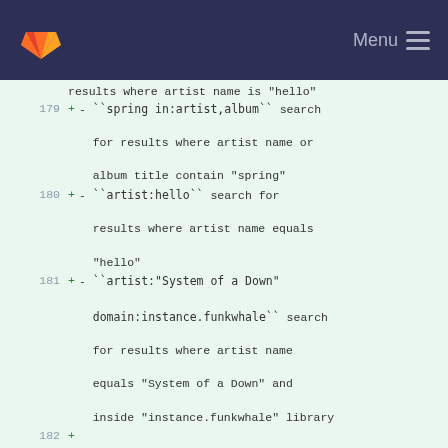GitLab — Menu
results where artist name is "hello"
179 + - ``spring in:artist,album`` search for results where artist name or album title contain "spring"
180 + - ``artist:hello`` search for results where artist name equals "hello"
181 + - ``artist:"System of a Down" domain:instance.funkwhale`` search for results where artist name equals "System of a Down" and inside "instance.funkwhale" library
182 +
183 +
184 + Ensure MEDIA_ROOT, STATIC_ROOT and MUSIC_DIRECTORY_* are set explicitely [Manual action required]
185 + ^^^^^^^^^^^^^^^^^^^^^^^^^^^^^^^^^^^^^^^^^^^^^^^^^^^^^^^^^^^^^^^^^